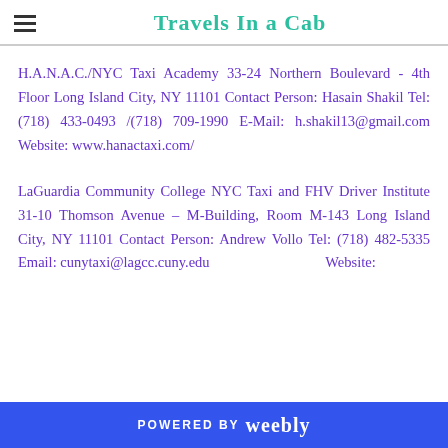Travels In a Cab
H.A.N.A.C./NYC Taxi Academy 33-24 Northern Boulevard - 4th Floor Long Island City, NY 11101 Contact Person: Hasain Shakil Tel: (718) 433-0493 /(718) 709-1990 E-Mail: h.shakil13@gmail.com Website: www.hanactaxi.com/
LaGuardia Community College NYC Taxi and FHV Driver Institute 31-10 Thomson Avenue – M-Building, Room M-143 Long Island City, NY 11101 Contact Person: Andrew Vollo Tel: (718) 482-5335 Email: cunytaxi@lagcc.cuny.edu Website:
POWERED BY weebly